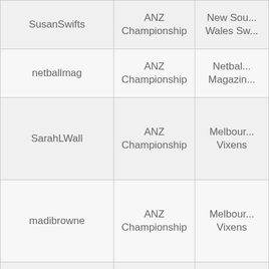| SusanSwifts | ANZ Championship | New South Wales Sw... |
| netballmag | ANZ Championship | Netball Magazine |
| SarahLWall | ANZ Championship | Melbourne Vixens |
| madibrowne | ANZ Championship | Melbourne Vixens |
| KateBevNetball | ANZ Championship | Adelaide Thunderb... |
| NetballOnline | Netball Australia | Netball Australia |
|  | ANZ | ANZ |